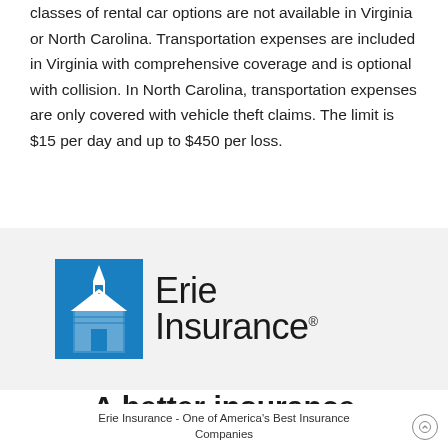classes of rental car options are not available in Virginia or North Carolina. Transportation expenses are included in Virginia with comprehensive coverage and is optional with collision. In North Carolina, transportation expenses are only covered with vehicle theft claims. The limit is $15 per day and up to $450 per loss.
[Figure (logo): Erie Insurance logo — blue building/house icon on left, 'Erie Insurance' text in dark on right, on a light gray background]
A better insurance
Erie Insurance - One of America's Best Insurance Companies